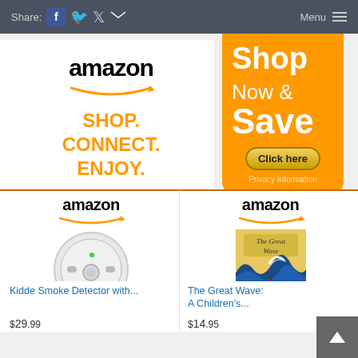Share: [facebook] [twitter]  Menu ≡
[Figure (advertisement): Amazon advertisement with logo, tagline SHOP. CONNECT. ENJOY. and Privacy link]
[Figure (advertisement): Orange Shop Now & Save advertisement with Click here button and Privacy Information link]
[Figure (advertisement): Amazon product listing - Kidde Smoke Detector with smoke alarm image]
Kidde Smoke Detector with...
[Figure (advertisement): Amazon product listing - The Great Wave: A Children's... book cover image]
The Great Wave: A Children's...